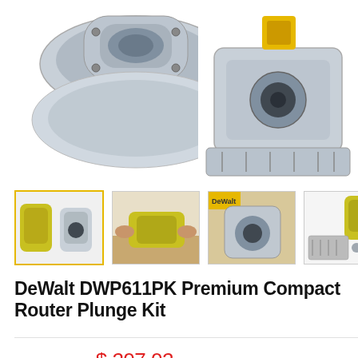[Figure (photo): Top portion of DeWalt DWP611PK compact router product images — left shows router base top view, right shows plunge base close-up]
[Figure (photo): Four product thumbnail images: 1) DeWalt router kit (selected, yellow border), 2) Person installing bit, 3) Plunge base detail, 4) Router with accessories exploded view]
DeWalt DWP611PK Premium Compact Router Plunge Kit
Price: $ 207.02  $350.24
Stock: In stock